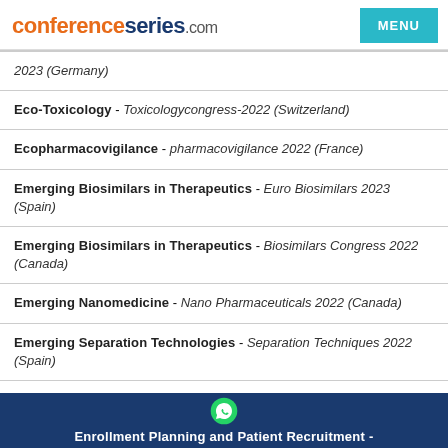conferenceseries.com
2023 (Germany)
Eco-Toxicology - Toxicologycongress-2022 (Switzerland)
Ecopharmacovigilance - pharmacovigilance 2022 (France)
Emerging Biosimilars in Therapeutics - Euro Biosimilars 2023 (Spain)
Emerging Biosimilars in Therapeutics - Biosimilars Congress 2022 (Canada)
Emerging Nanomedicine - Nano Pharmaceuticals 2022 (Canada)
Emerging Separation Technologies - Separation Techniques 2022 (Spain)
Enrollment Planning and Patient Recruitment -